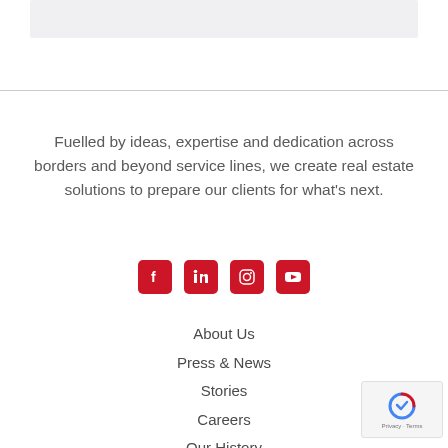[Figure (other): Gray header box at top of page]
Fuelled by ideas, expertise and dedication across borders and beyond service lines, we create real estate solutions to prepare our clients for what's next.
[Figure (other): Social media icons: Facebook, LinkedIn, Instagram, YouTube — red rounded square backgrounds]
About Us
Press & News
Stories
Careers
Our History